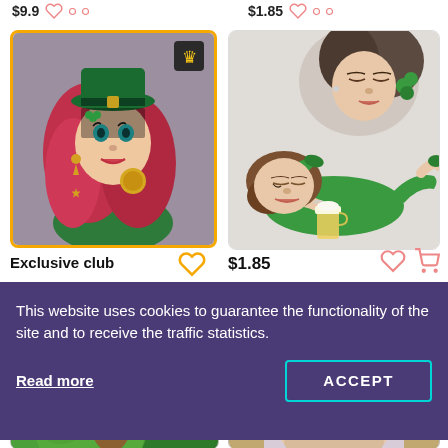$9.9
$1.85
[Figure (illustration): Illustrated woman with red hair, green hat, fishnet veil, gold earrings, green outfit, blowing a coin. Orange bordered card with crown badge.]
Exclusive club
[Figure (illustration): Two illustrated women with green accessories; one lying down in green dress with a beer glass.]
$1.85
This website uses cookies to guarantee the functionality of the site and to receive the traffic statistics.
Read more
ACCEPT
[Figure (illustration): Partial view of green fantasy character/plant illustration at bottom left.]
[Figure (illustration): Partial view of smiling man's face at bottom right.]